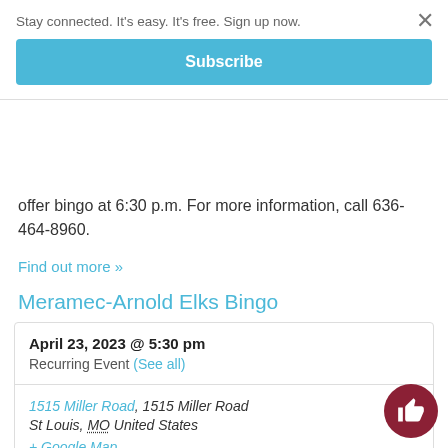Stay connected. It's easy. It's free. Sign up now.
Subscribe
offer bingo at 6:30 p.m. For more information, call 636-464-8960.
Find out more »
Meramec-Arnold Elks Bingo
April 23, 2023 @ 5:30 pm
Recurring Event (See all)
1515 Miller Road, 1515 Miller Road St Louis, MO United States + Google Map
The Meramec-Arnold Elks, 1515 Miller Road, will